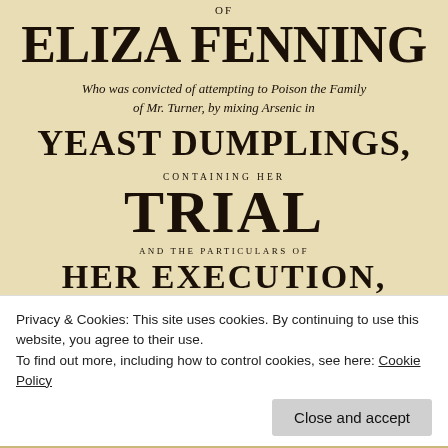OF
ELIZA FENNING
Who was convicted of attempting to Poison the Family of Mr. Turner, by mixing Arsenic in
YEAST DUMPLINGS,
CONTAINING HER
TRIAL
AND THE PARTICULARS OF
HER EXECUTION,
Including, among other interesting Documents, several
Privacy & Cookies: This site uses cookies. By continuing to use this website, you agree to their use.
To find out more, including how to control cookies, see here: Cookie Policy
Close and accept